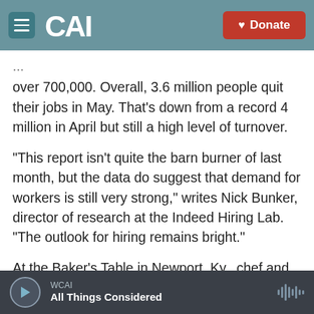CAI — Donate
over 700,000. Overall, 3.6 million people quit their jobs in May. That's down from a record 4 million in April but still a high level of turnover.
"This report isn't quite the barn burner of last month, but the data do suggest that demand for workers is still very strong," writes Nick Bunker, director of research at the Indeed Hiring Lab. "The outlook for hiring remains bright."
At the Baker's Table in Newport, Ky., chef and owner David Willocks managed to hire three people in the last 14 days. He's breathing a sigh of relief
WCAI — All Things Considered